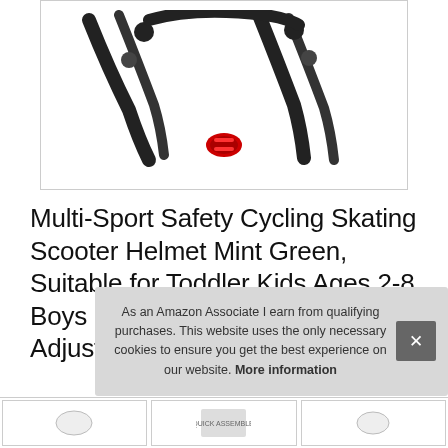[Figure (photo): Partial view of a black bicycle/scooter helmet with red accent buckle, photographed against white background. Shows the chin strap and buckle mechanism.]
Multi-Sport Safety Cycling Skating Scooter Helmet Mint Green, Suitable for Toddler Kids Ages 2-8 Boys Girls, KAMUGO Kids Adjustable Helmet, Sn
#ad
As an Amazon Associate I earn from qualifying purchases. This website uses the only necessary cookies to ensure you get the best experience on our website. More information
[Figure (photo): Thumbnail images of product variants at the bottom of the page]